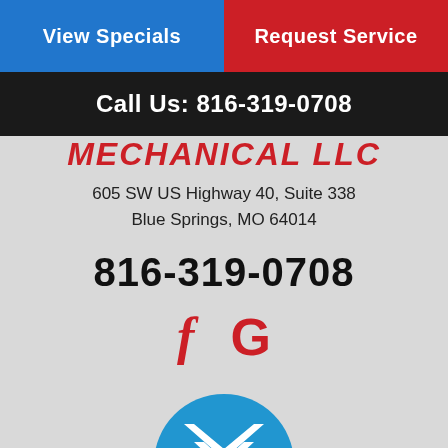View Specials
Request Service
Call Us: 816-319-0708
MECHANICAL LLC
605 SW US Highway 40, Suite 338
Blue Springs, MO 64014
816-319-0708
[Figure (logo): Facebook 'f' icon in red and Google 'G' icon in red, social media links]
[Figure (logo): Blue circular logo with white chevron/M mark at bottom of page, partially visible]